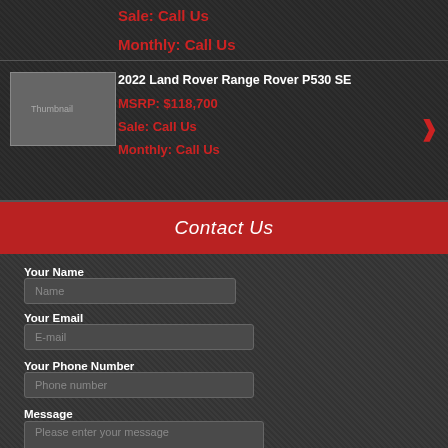Sale: Call Us
Monthly: Call Us
[Figure (photo): Thumbnail image of vehicle listing]
2022 Land Rover Range Rover P530 SE
MSRP: $118,700
Sale: Call Us
Monthly: Call Us
Contact Us
Your Name
Name
Your Email
E-mail
Your Phone Number
Phone number
Message
Please enter your message